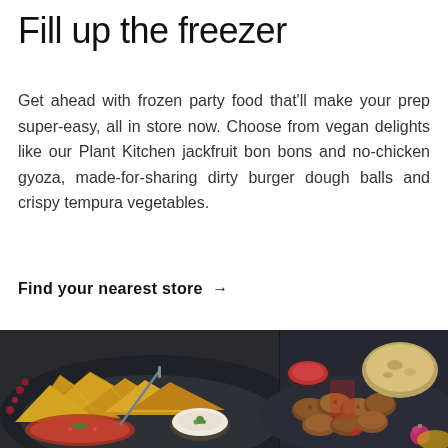Fill up the freezer
Get ahead with frozen party food that'll make your prep super-easy, all in store now. Choose from vegan delights like our Plant Kitchen jackfruit bon bons and no-chicken gyoza, made-for-sharing dirty burger dough balls and crispy tempura vegetables.
Find your nearest store →
[Figure (photo): Two plates of party food on a dark background: left plate has golden crispy samosas/pastry triangles with a white dipping sauce and spiced tomato chutney; right plate has crispy breaded nuggets with a red dipping sauce and naan bread, with Christmas decorations visible (red star, pink bauble).]